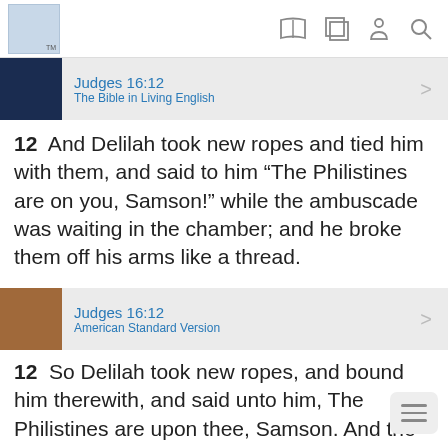Navigation bar with logo and icons
Judges 16:12 — The Bible in Living English
12  And Delilah took new ropes and tied him with them, and said to him “The Philistines are on you, Samson!” while the ambuscade was waiting in the chamber; and he broke them off his arms like a thread.
Judges 16:12 — American Standard Version
12  So Delilah took new ropes, and bound him therewith, and said unto him, The Philistines are upon thee, Samson. And the liers-in-wait were abiding in the inner chamber. And he brake them off his arms like a thread.